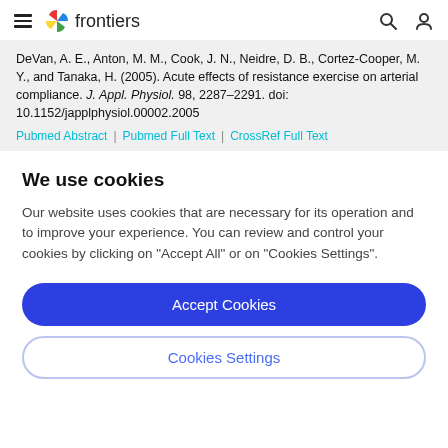frontiers
DeVan, A. E., Anton, M. M., Cook, J. N., Neidre, D. B., Cortez-Cooper, M. Y., and Tanaka, H. (2005). Acute effects of resistance exercise on arterial compliance. J. Appl. Physiol. 98, 2287–2291. doi: 10.1152/japplphysiol.00002.2005
Pubmed Abstract | Pubmed Full Text | CrossRef Full Text
We use cookies
Our website uses cookies that are necessary for its operation and to improve your experience. You can review and control your cookies by clicking on "Accept All" or on "Cookies Settings".
Accept Cookies
Cookies Settings